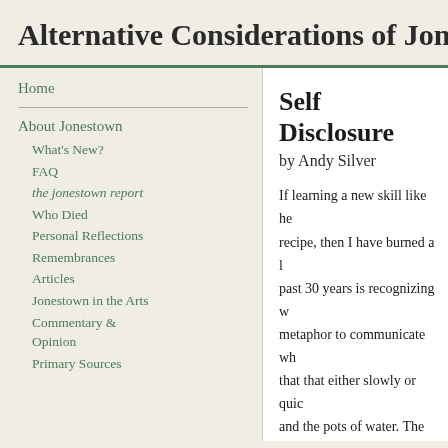Alternative Considerations of Jonestown
Home
About Jonestown
What's New?
FAQ
the jonestown report
Who Died
Personal Reflections
Remembrances
Articles
Jonestown in the Arts
Commentary & Opinion
Primary Sources
Self Disclosure
by Andy Silver
If learning a new skill like he recipe, then I have burned a l past 30 years is recognizing w metaphor to communicate wh that that either slowly or quic and the pots of water. The fir